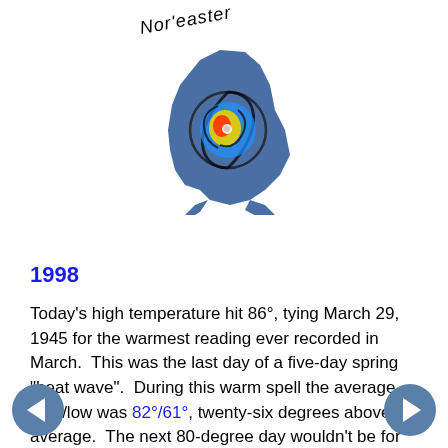[Figure (logo): Nor'easter logo: blue map of New England with a hurricane/storm swirl overlay (red, yellow, blue spiral) and the text 'Nor'easter' in italic letters arced above the map]
1998
Today's high temperature hit 86°, tying March 29, 1945 for the warmest reading ever recorded in March. This was the last day of a five-day spring "heat wave". During this warm spell the average high/low was 82°/61°, twenty-six degrees above average. The next 80-degree day wouldn't be for another six-and-a-half weeks - and it was the last time until 2021 that a temperature in the 80s was